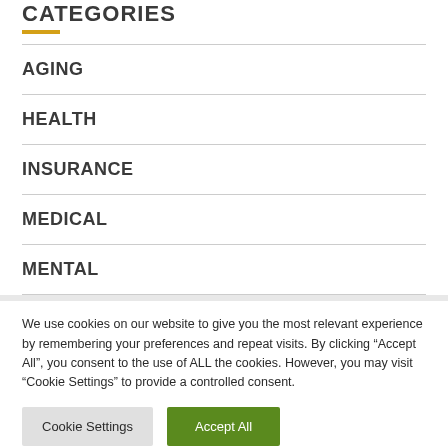CATEGORIES
AGING
HEALTH
INSURANCE
MEDICAL
MENTAL
We use cookies on our website to give you the most relevant experience by remembering your preferences and repeat visits. By clicking “Accept All”, you consent to the use of ALL the cookies. However, you may visit “Cookie Settings” to provide a controlled consent.
Cookie Settings | Accept All